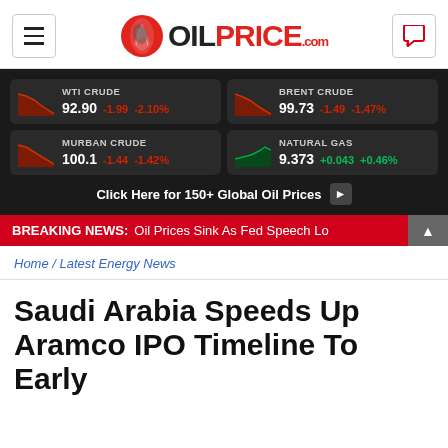[Figure (logo): OilPrice.com logo with hamburger menu and chat icon]
[Figure (infographic): Commodity prices bar: WTI CRUDE 92.90 -1.99 -2.10%, BRENT CRUDE 99.73 -1.49 -1.47%, MURBAN CRUDE 100.1 -1.44 -1.42%, NATURAL GAS 9.373 +0.043 +0.46%. Click Here for 150+ Global Oil Prices button.]
BREAKING NEWS: Oil Prices Sink As Fed Speech Lo
Home / Latest Energy News
Saudi Arabia Speeds Up Aramco IPO Timeline To Early